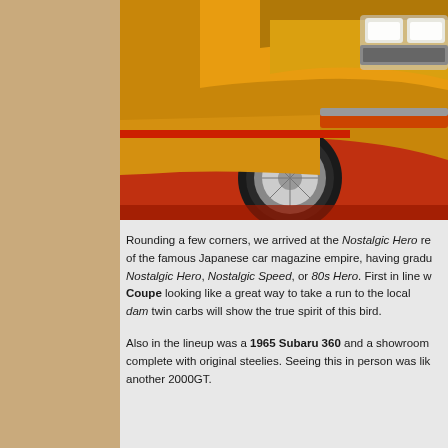[Figure (photo): Close-up photograph of a vintage yellow/gold Japanese classic car (appears to be a Datsun/Nissan) displayed on a red floor with dark background. Shows the front quarter panel, headlights, and wheel of the car.]
Rounding a few corners, we arrived at the Nostalgic Hero re of the famous Japanese car magazine empire, having gradu Nostalgic Hero, Nostalgic Speed, or 80s Hero. First in line w Coupe looking like a great way to take a run to the local dam twin carbs will show the true spirit of this bird.
Also in the lineup was a 1965 Subaru 360 and a showroom complete with original steelies. Seeing this in person was like another 2000GT.